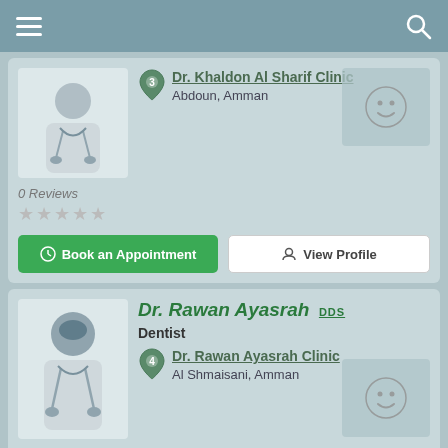Navigation header with menu and search icons
Dr. Khaldon Al Sharif Clinic
Abdoun, Amman
0 Reviews
Book an Appointment
View Profile
Dr. Rawan Ayasrah DDS
Dentist
Dr. Rawan Ayasrah Clinic
Al Shmaisani, Amman
0 Reviews